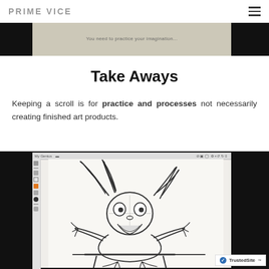PRIME VICE
[Figure (screenshot): Partial view of a drawing/scroll application screenshot at top of page]
Take Aways
Keeping a scroll is for practice and processes not necessarily creating finished art products.
[Figure (screenshot): Screenshot of a digital drawing application showing a sketch of a jester/bunny character with exaggerated features]